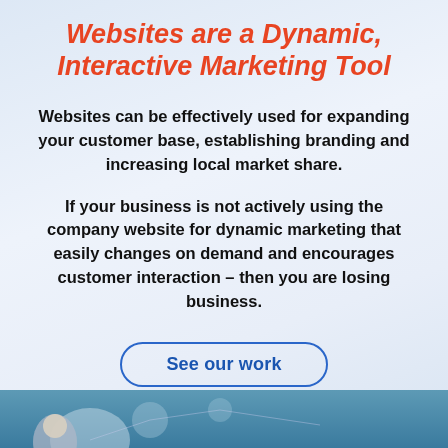Websites are a Dynamic, Interactive Marketing Tool
Websites can be effectively used for expanding your customer base, establishing branding and increasing local market share.
If your business is not actively using the company website for dynamic marketing that easily changes on demand and encourages customer interaction – then you are losing business.
[Figure (other): A rounded rectangle button with blue border and blue text reading 'See our work']
[Figure (photo): Bottom strip showing a partial photo of a person at a computer with a network/technology background, partially cut off]